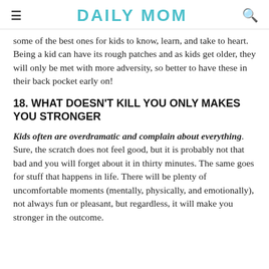DAILY MOM
some of the best ones for kids to know, learn, and take to heart.  Being a kid can have its rough patches and as kids get older, they will only be met with more adversity, so better to have these in their back pocket early on!
18. WHAT DOESN'T KILL YOU ONLY MAKES YOU STRONGER
Kids often are overdramatic and complain about everything. Sure, the scratch does not feel good, but it is probably not that bad and you will forget about it in thirty minutes. The same goes for stuff that happens in life. There will be plenty of uncomfortable moments (mentally, physically, and emotionally), not always fun or pleasant, but regardless, it will make you stronger in the outcome.